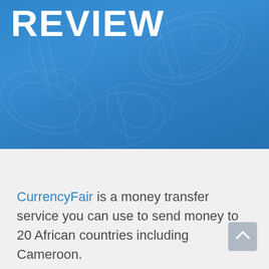[Figure (illustration): Blue hero banner with a textured background showing faint currency/banknote patterns and the word REVIEW in large bold white uppercase text.]
CurrencyFair is a money transfer service you can use to send money to 20 African countries including Cameroon.